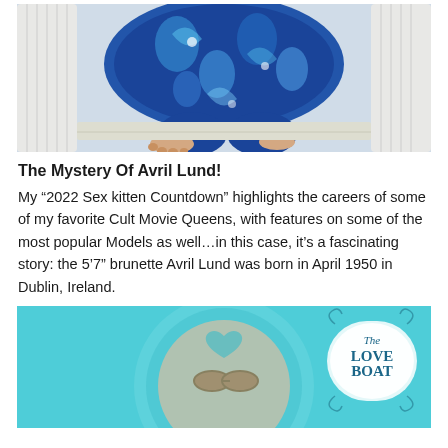[Figure (photo): A person wearing blue floral patterned leggings/pants sitting in a white wicker chair, feet visible, partial body shot.]
The Mystery Of Avril Lund!
My “2022 Sex kitten Countdown” highlights the careers of some of my favorite Cult Movie Queens, with features on some of the most popular Models as well…in this case, it’s a fascinating story: the 5’7” brunette Avril Lund was born in April 1950 in Dublin, Ireland.
[Figure (photo): A teal/turquoise background with a circular plate or record, showing 'The Love Boat' logo in decorative script, and what appears to be sunglasses in the center.]